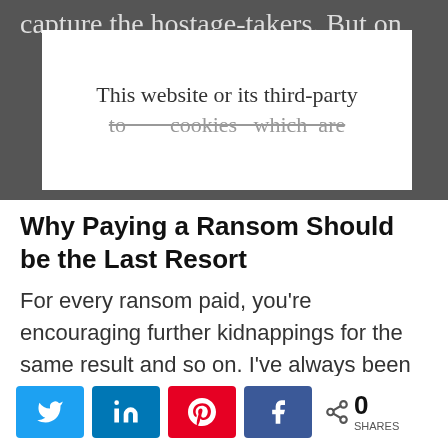capture the hostage-takers. But on
[Figure (screenshot): Cookie consent modal overlay showing 'This website or its third-party' text and partially obscured second line with strikethrough text]
Why Paying a Ransom Should be the Last Resort
For every ransom paid, you're encouraging further kidnappings for the same result and so on. I've always been against paying ransoms for that reason alone; therefore, I could hardly go along with the idea if it was myself who
[Figure (infographic): Social sharing bar with Twitter, LinkedIn, Pinterest, and Facebook buttons, plus a share count showing 0 SHARES]